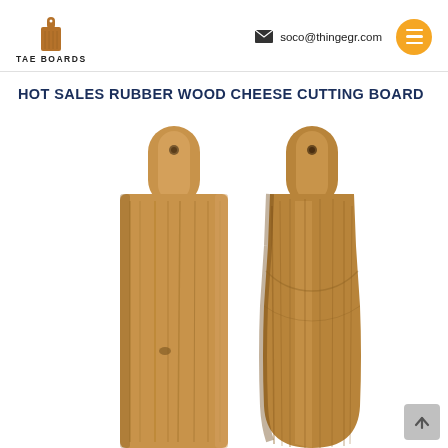TAE BOARDS | soco@thingegr.com
HOT SALES RUBBER WOOD CHEESE CUTTING BOARD
[Figure (photo): Two wooden cutting boards with handles (paddle-style): one rectangular board on the left and one with a rounded/guitar-body-shaped board on the right, both made of acacia/rubber wood with visible grain and small metal hanging holes at the top of the handles.]